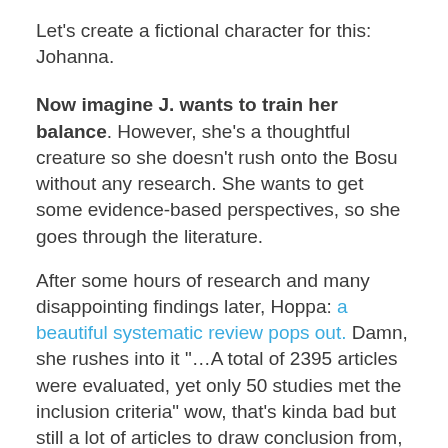Let's create a fictional character for this: Johanna.
Now imagine J. wants to train her balance. However, she's a thoughtful creature so she doesn't rush onto the Bosu without any research. She wants to get some evidence-based perspectives, so she goes through the literature.
After some hours of research and many disappointing findings later, Hoppa: a beautiful systematic review pops out. Damn, she rushes into it "…A total of 2395 articles were evaluated, yet only 50 studies met the inclusion criteria" wow, that's kinda bad but still a lot of articles to draw conclusion from, she continues excited "The main aim of this review was to identify a training protocol based on